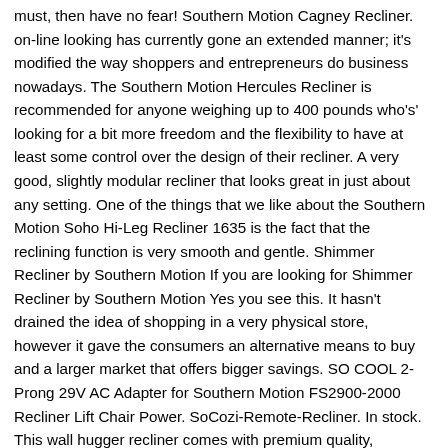must, then have no fear! Southern Motion Cagney Recliner. on-line looking has currently gone an extended manner; it's modified the way shoppers and entrepreneurs do business nowadays. The Southern Motion Hercules Recliner is recommended for anyone weighing up to 400 pounds who's' looking for a bit more freedom and the flexibility to have at least some control over the design of their recliner. A very good, slightly modular recliner that looks great in just about any setting. One of the things that we like about the Southern Motion Soho Hi-Leg Recliner 1635 is the fact that the reclining function is very smooth and gentle. Shimmer Recliner by Southern Motion If you are looking for Shimmer Recliner by Southern Motion Yes you see this. It hasn't drained the idea of shopping in a very physical store, however it gave the consumers an alternative means to buy and a larger market that offers bigger savings. SO COOL 2-Prong 29V AC Adapter for Southern Motion FS2900-2000 Recliner Lift Chair Power. SoCozi-Remote-Recliner. In stock. This wall hugger recliner comes with premium quality, although also at a bit of a premium price. Find the best companies in Furniture and Decor category: Lazboy and Southern Motion Furniture, Lazboy vs Lane Furniture, Southern Motion Furniture vs Ashley Furniture Features. 1113 in by Southern Motion in McLeansboro, IL - Rocker Recliner. Southern Motion Furniture was first mentioned on PissedConsumer on Jul 29, 2013 and since then